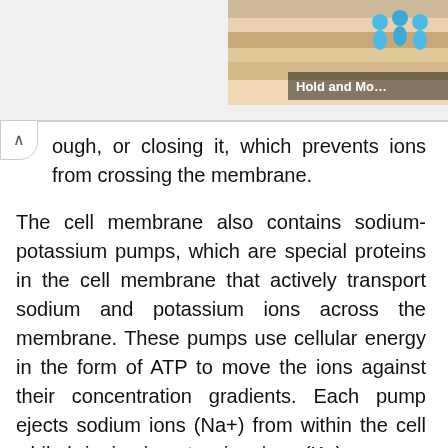[Figure (illustration): Partial screenshot of an educational app showing a cell membrane illustration with figures of people icons and a 'Hold and Move' label overlay in the top-right corner.]
ough, or closing it, which prevents ions from crossing the membrane.

The cell membrane also contains sodium-potassium pumps, which are special proteins in the cell membrane that actively transport sodium and potassium ions across the membrane. These pumps use cellular energy in the form of ATP to move the ions against their concentration gradients. Each pump ejects sodium ions (Na+) from within the cell while bringing in potassium ions (K+).